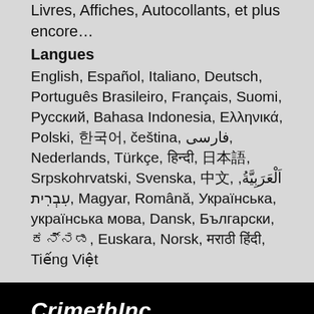Livres, Affiches, Autocollants, et plus encore…
Langues
English, Español, Italiano, Deutsch, Português Brasileiro, Français, Suomi, Русский, Bahasa Indonesia, Ελληνικά, Polski, 한국어, čeština, فارسی, Nederlands, Türkçe, हिन्दी, 日本語, Srpskohrvatski, Svenska, 中文, اَلْعَرَبِيَّةُ, עִבְרִית, Magyar, Română, Українська, українська мова, Dansk, Български, ಕನ್ನಡ, Euskara, Norsk, मराठी हिंदी, Tiếng Việt
CrimethInc.
CrimethInc. est une alliance rebelle – un réseau décentralisé qui s'engage dans une action collective anonyme – qui s'est échappé des prisons de notre